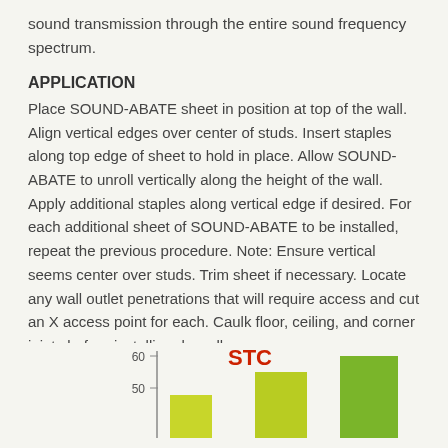sound transmission through the entire sound frequency spectrum.
APPLICATION
Place SOUND-ABATE sheet in position at top of the wall. Align vertical edges over center of studs. Insert staples along top edge of sheet to hold in place. Allow SOUND-ABATE to unroll vertically along the height of the wall. Apply additional staples along vertical edge if desired. For each additional sheet of SOUND-ABATE to be installed, repeat the previous procedure. Note: Ensure vertical seems center over studs. Trim sheet if necessary. Locate any wall outlet penetrations that will require access and cut an X access point for each. Caulk floor, ceiling, and corner joints before installing drywall.
[Figure (bar-chart): STC]